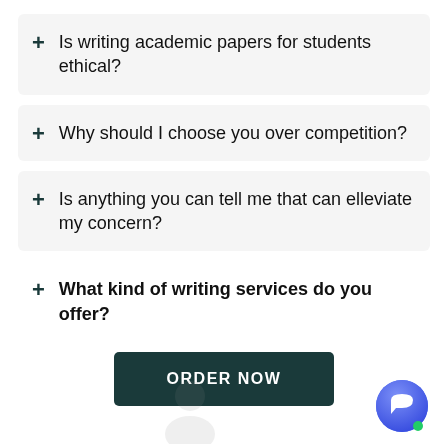+ Is writing academic papers for students ethical?
+ Why should I choose you over competition?
+ Is anything you can tell me that can elleviate my concern?
+ What kind of writing services do you offer?
ORDER NOW